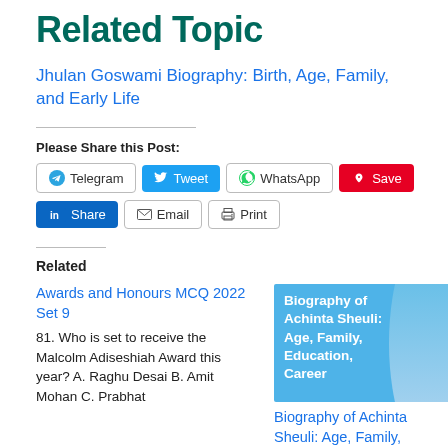Related Topic
Jhulan Goswami Biography: Birth, Age, Family, and Early Life
Please Share this Post:
Telegram  Tweet  WhatsApp  Save  Share  Email  Print
Related
Awards and Honours MCQ 2022 Set 9
81. Who is set to receive the Malcolm Adiseshiah Award this year? A. Raghu Desai B. Amit Mohan C. Prabhat
[Figure (photo): Biography of Achinta Sheuli: Age, Family, Education, Career - blue banner with text and person photo]
Biography of Achinta Sheuli: Age, Family, Education, Career